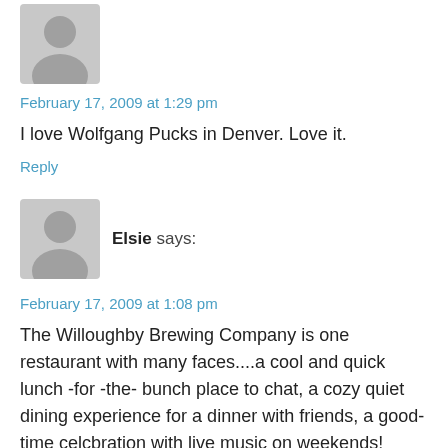[Figure (illustration): Grey silhouette avatar of a person, top of page, left aligned]
February 17, 2009 at 1:29 pm
I love Wolfgang Pucks in Denver. Love it.
Reply
[Figure (illustration): Grey silhouette avatar of a person, second comment block]
Elsie says:
February 17, 2009 at 1:08 pm
The Willoughby Brewing Company is one restaurant with many faces....a cool and quick lunch -for -the- bunch place to chat, a cozy quiet dining experience for a dinner with friends, a good-time celcbration with live music on weekends!
Too fun for words! But not for restaurant certificates!